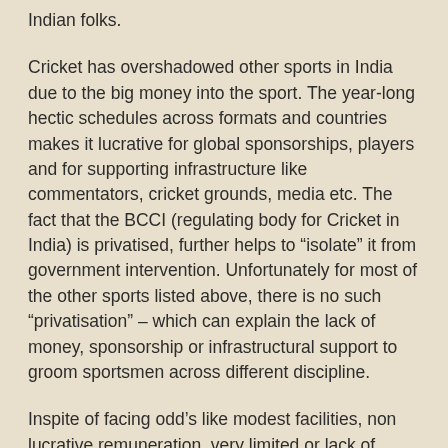Indian folks.
Cricket has overshadowed other sports in India due to the big money into the sport. The year-long hectic schedules across formats and countries makes it lucrative for global sponsorships, players and for supporting infrastructure like commentators, cricket grounds, media etc. The fact that the BCCI (regulating body for Cricket in India) is privatised, further helps to “isolate” it from government intervention. Unfortunately for most of the other sports listed above, there is no such “privatisation” – which can explain the lack of money, sponsorship or infrastructural support to groom sportsmen across different discipline.
Inspite of facing odd’s like modest facilities, non lucrative remuneration, very limited or lack of support from state & central government or private sector it is